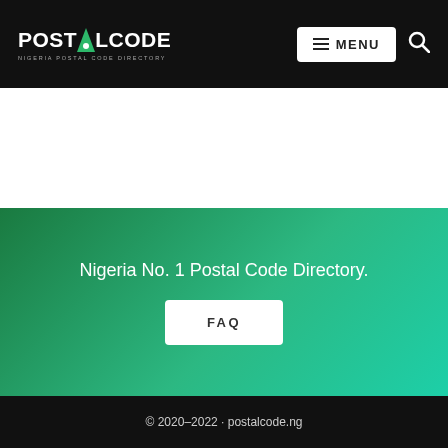POSTALCODE — NIGERIA POSTAL CODE DIRECTORY
[Figure (logo): PostalCode logo with green triangle replacing the A, white text on black background, tagline: NIGERIA POSTAL CODE DIRECTORY]
Nigeria No. 1 Postal Code Directory.
FAQ
© 2020–2022 · postalcode.ng